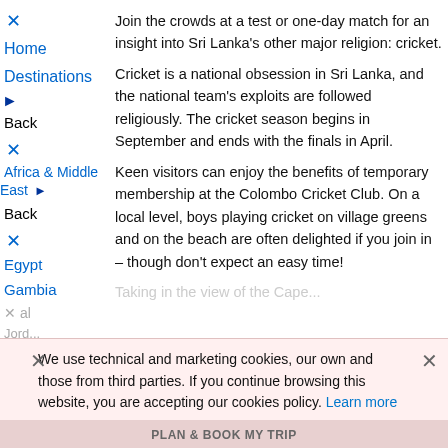Join the crowds at a test or one-day match for an insight into Sri Lanka's other major religion: cricket.
Home
Destinations
Back
Africa & Middle East
Back
Egypt
Gambia
Cricket is a national obsession in Sri Lanka, and the national team's exploits are followed religiously. The cricket season begins in September and ends with the finals in April.
Keen visitors can enjoy the benefits of temporary membership at the Colombo Cricket Club. On a local level, boys playing cricket on village greens and on the beach are often delighted if you join in – though don't expect an easy time!
We use technical and marketing cookies, our own and those from third parties. If you continue browsing this website, you are accepting our cookies policy. Learn more
PLAN & BOOK MY TRIP